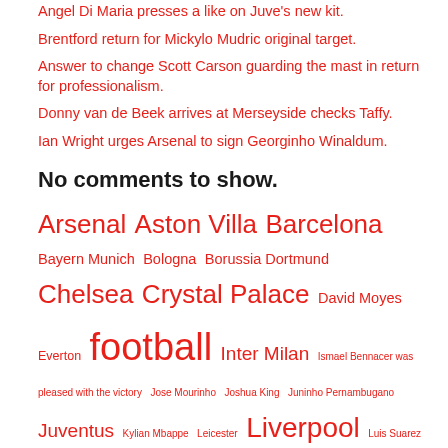Angel Di Maria presses a like on Juve's new kit.
Brentford return for Mickylo Mudric original target.
Answer to change Scott Carson guarding the mast in return for professionalism.
Donny van de Beek arrives at Merseyside checks Taffy.
Ian Wright urges Arsenal to sign Georginho Winaldum.
No comments to show.
Arsenal  Aston Villa  Barcelona  Bayern Munich  Bologna  Borussia Dortmund  Chelsea  Crystal Palace  David Moyes  Everton  football  Inter Milan  Ismael Bennacer was pleased with the victory  Jose Mourinho  Joshua King  Juninho Pernambugano  Juventus  Kylian Mbappe  Leicester  Liverpool  Luis Suarez